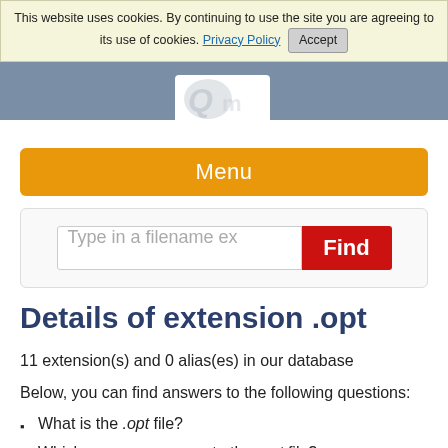This website uses cookies. By continuing to use the site you are agreeing to its use of cookies. Privacy Policy  Accept
[Figure (logo): Website logo with stylized letter Q on a white background, partially visible behind cookie banner]
Menu
Type in a filename ex    Find
Details of extension .opt
11 extension(s) and 0 alias(es) in our database
Below, you can find answers to the following questions:
What is the .opt file?
Which program can create the .opt file?
Where can you find a description of the .opt format?
What can convert .opt files to a different format?